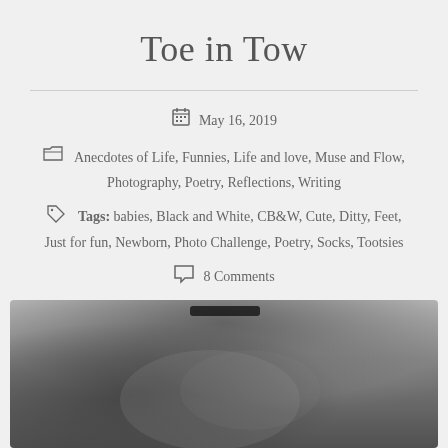Toe in Tow
May 16, 2019
Anecdotes of Life, Funnies, Life and love, Muse and Flow, Photography, Poetry, Reflections, Writing
Tags: babies, Black and White, CB&W, Cute, Ditty, Feet, Just for fun, Newborn, Photo Challenge, Poetry, Socks, Tootsies
8 Comments
[Figure (photo): Black and white close-up photograph, appears to show infant feet or toes, dark textured background]